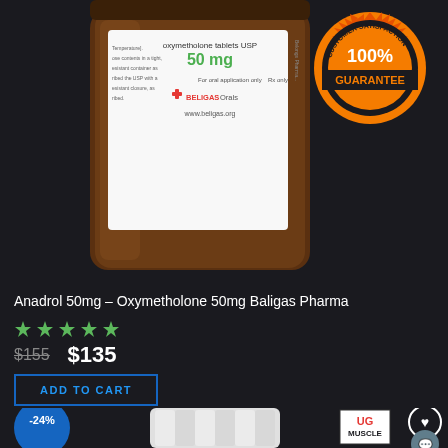[Figure (photo): Brown prescription pill bottle with white label showing 'oxymetholone tablets USP 50 mg, For oral application only, Rx only, BELIGAS Orals, www.beligas.org' text, and a 100% Customer Satisfaction Guarantee badge in orange/gold in the top right corner.]
Anadrol 50mg – Oxymetholone 50mg Baligas Pharma
[Figure (other): Five green star rating icons]
$155  $135
ADD TO CART
[Figure (photo): Bottom portion showing a white supplement container, a blue circle with -24% discount badge, UG MUSCLE logo, VARIF text with logos, heart icon, chat icon, and a partial gold clock/timer badge.]